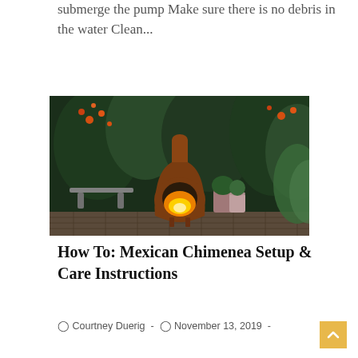submerge the pump Make sure there is no debris in the water Clean...
Continue Reading ›
[Figure (photo): A terracotta Mexican chimenea with fire burning inside, set against a lush garden background with orange flowers, bench, and potted plants on a brick patio.]
How To: Mexican Chimenea Setup & Care Instructions
Courtney Duerig · November 13, 2019 ·